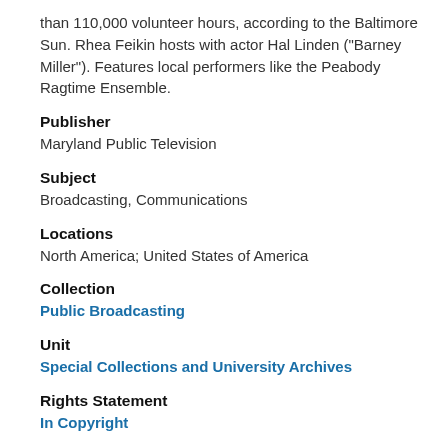than 110,000 volunteer hours, according to the Baltimore Sun. Rhea Feikin hosts with actor Hal Linden ("Barney Miller"). Features local performers like the Peabody Ragtime Ensemble.
Publisher
Maryland Public Television
Subject
Broadcasting, Communications
Locations
North America; United States of America
Collection
Public Broadcasting
Unit
Special Collections and University Archives
Rights Statement
In Copyright
Terms of Use
Collection may be protected under Title 17 of the U.S. Copyright Law. To obtain permission to publish or reproduce, please contact the University of Maryland Libraries at